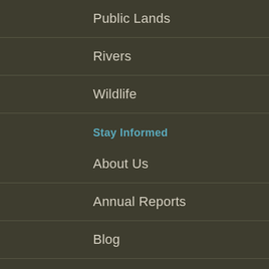Public Lands
Rivers
Wildlife
Stay Informed
About Us
Annual Reports
Blog
Events
Top Campaigns